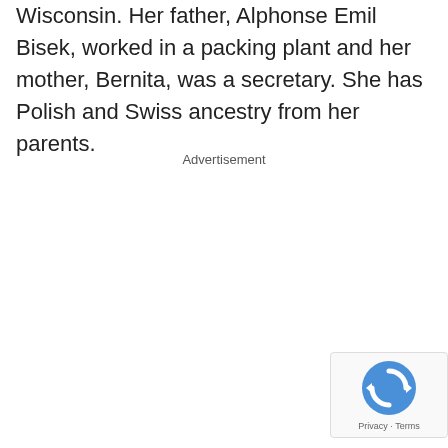Wisconsin. Her father, Alphonse Emil Bisek, worked in a packing plant and her mother, Bernita, was a secretary. She has Polish and Swiss ancestry from her parents.
Advertisement
[Figure (other): reCAPTCHA badge with recycling-arrow logo and Privacy · Terms text]